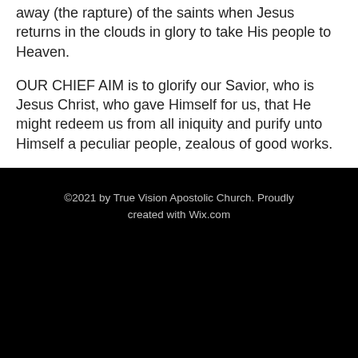away (the rapture) of the saints when Jesus returns in the clouds in glory to take His people to Heaven.
OUR CHIEF AIM is to glorify our Savior, who is Jesus Christ, who gave Himself for us, that He might redeem us from all iniquity and purify unto Himself a peculiar people, zealous of good works.
©2021 by True Vision Apostolic Church. Proudly created with Wix.com